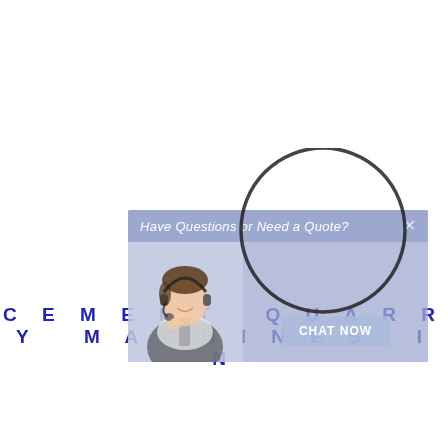[Figure (screenshot): Chat widget popup showing a customer service representative with headset, 'Have Questions or Need a Quote?' header text with a close X button, and a 'CHAT NOW' button. A magnifier/search circle overlay is shown on top of the widget.]
CEMENT QUARRY MACHINES IN